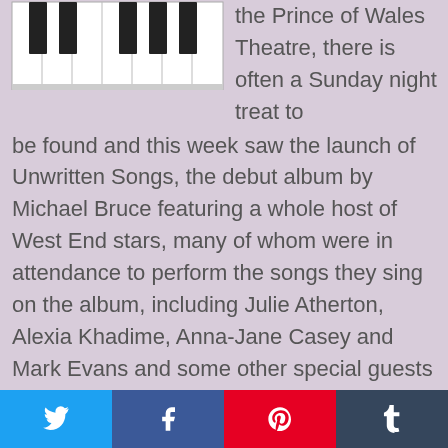[Figure (illustration): Piano keys illustration, white and black keys shown from above, partial top crop]
the Prince of Wales Theatre, there is often a Sunday night treat to be found and this week saw the launch of Unwritten Songs, the debut album by Michael Bruce featuring a whole host of West End stars, many of whom were in attendance to perform the songs they sing on the album, including Julie Atherton, Alexia Khadime, Anna-Jane Casey and Mark Evans and some other special guests too, including Caroline Sheen. Bruce is a composer who has had his own West End showcase, musicals playing at Edinburgh, is resident composer at the
[Figure (infographic): Social media sharing buttons: Twitter (blue), Facebook (blue), Pinterest (red), Tumblr (dark grey)]